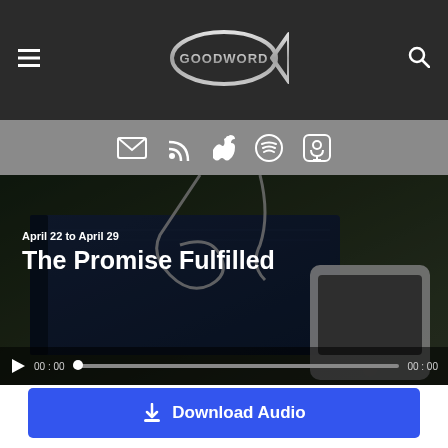GoodWord – navigation header with menu icon, logo, and search icon
[Figure (screenshot): GoodWord logo – metallic ichthys (fish) symbol with text GOODWORD in metallic lettering]
[Figure (screenshot): Icon bar with email/envelope, RSS feed, Apple, Spotify, and Podcast icons on grey background]
[Figure (photo): Hero image of a dark blue Bible/book with white earphone cables and a white smartphone on a dark wooden surface, with overlay text showing date and episode title]
April 22 to April 29
The Promise Fulfilled
00:00  [progress bar]  00:00
Download Audio